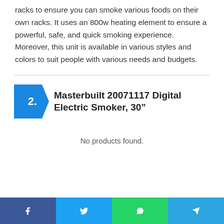racks to ensure you can smoke various foods on their own racks. It uses an 800w heating element to ensure a powerful, safe, and quick smoking experience. Moreover, this unit is available in various styles and colors to suit people with various needs and budgets.
2. Masterbuilt 20071117 Digital Electric Smoker, 30”
No products found.
Facebook | Twitter | WhatsApp | Telegram